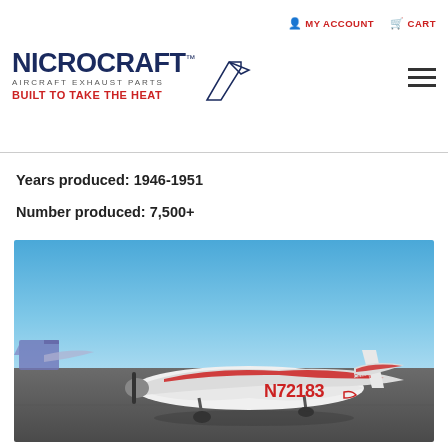MY ACCOUNT   CART
[Figure (logo): Nicrocraft Aircraft Exhaust Parts logo with airplane tail silhouette and tagline BUILT TO TAKE THE HEAT]
Years produced: 1946-1951
Number produced: 7,500+
[Figure (photo): White and red Cessna aircraft with registration N72183 parked on tarmac under blue sky]